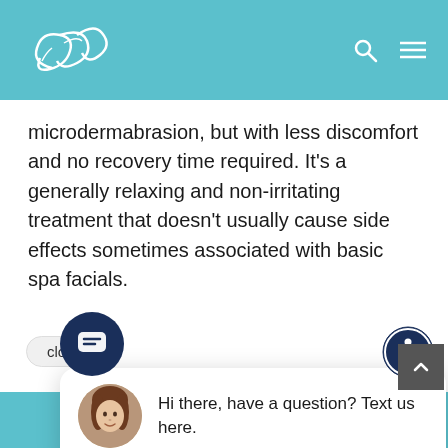[Figure (logo): Decorative script logo (SP initials) in white on teal header background]
microdermabrasion, but with less discomfort and no recovery time required. It’s a generally relaxing and non-irritating treatment that doesn’t usually cause side effects sometimes associated with basic spa facials.
close
nts
[Figure (screenshot): Chat widget popup with avatar photo of a woman with brown hair and message: Hi there, have a question? Text us here.]
HydraFacial.
(630) 717-6000  /  Contact Us